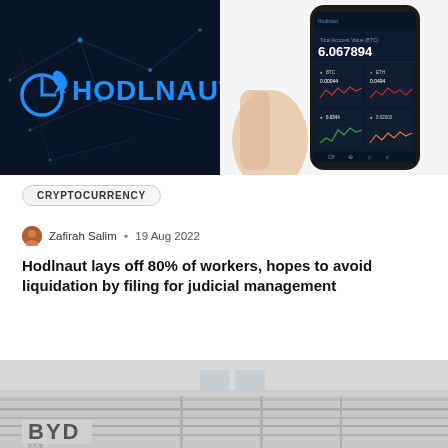[Figure (photo): Hodlnaut logo on dark blue network background with glowing nodes and lines]
[Figure (photo): Hand holding a smartphone displaying the Hodlnaut crypto app with BTC portfolio value of 6.067894 and various crypto charts]
CRYPTOCURRENCY
Zafirah Salim • 19 Aug 2022
Hodlnaut lays off 80% of workers, hopes to avoid liquidation by filing for judicial management
[Figure (photo): BYD building exterior with BYD logo signage, modern architectural facade]